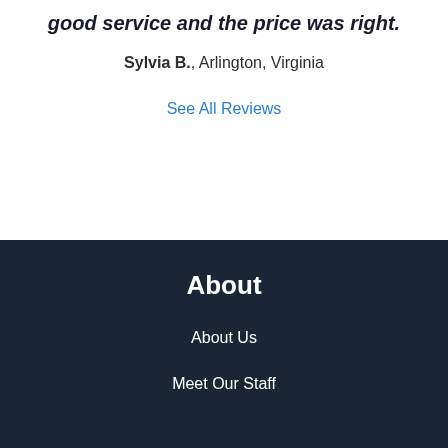good service and the price was right.
Sylvia B., Arlington, Virginia
See All Reviews
About
About Us
Meet Our Staff